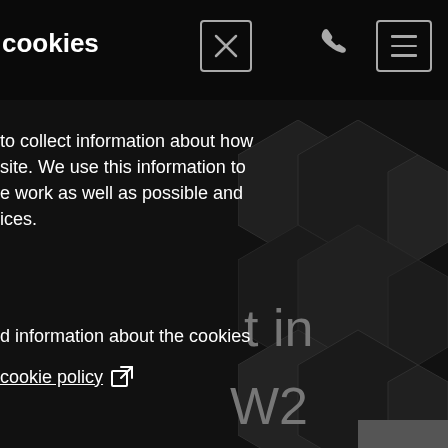cookies
[Figure (other): Close/X button icon in top bar]
[Figure (other): Phone icon in top bar]
[Figure (other): Hamburger menu button in top bar]
to collect information about how site. We use this information to e work as well as possible and ices.
d information about the cookies
cookie policy
[Figure (other): Dark hexagonal pattern background on right side with partial text 't in' and 'W2' visible]
okies
able core functionality such agement, and